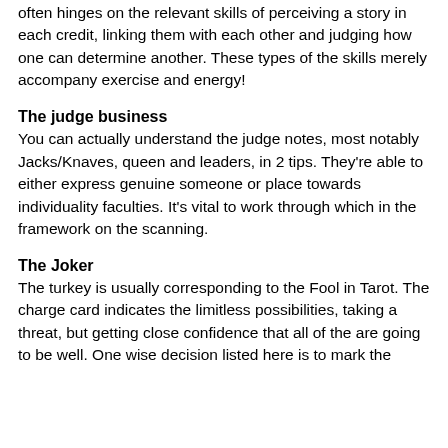Without a doubt, the potency of your readers often hinges on the relevant skills of perceiving a story in each credit, linking them with each other and judging how one can determine another. These types of the skills merely accompany exercise and energy!
The judge business
You can actually understand the judge notes, most notably Jacks/Knaves, queen and leaders, in 2 tips. They're able to either express genuine someone or place towards individuality faculties. It's vital to work through which in the framework on the scanning.
The Joker
The turkey is usually corresponding to the Fool in Tarot. The charge card indicates the limitless possibilities, taking a threat, but getting close confidence that all of the are going to be well. One wise decision listed here is to mark the